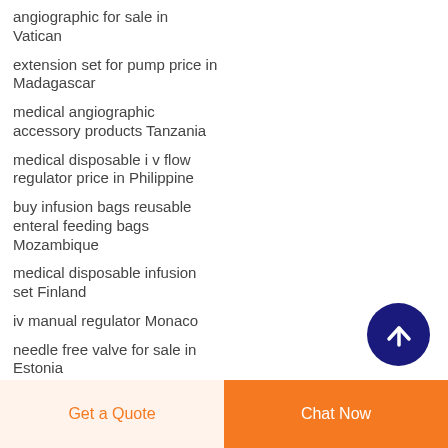angiographic for sale in Vatican
extension set for pump price in Madagascar
medical angiographic accessory products Tanzania
medical disposable i v flow regulator price in Philippine
buy infusion bags reusable enteral feeding bags Mozambique
medical disposable infusion set Finland
iv manual regulator Monaco
needle free valve for sale in Estonia
connection set for sale in